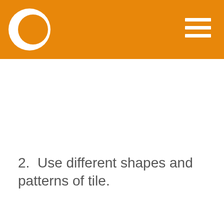[Figure (logo): Orange header bar with white crescent/C logo on the left and hamburger menu icon on the right]
2. Use different shapes and patterns of tile.